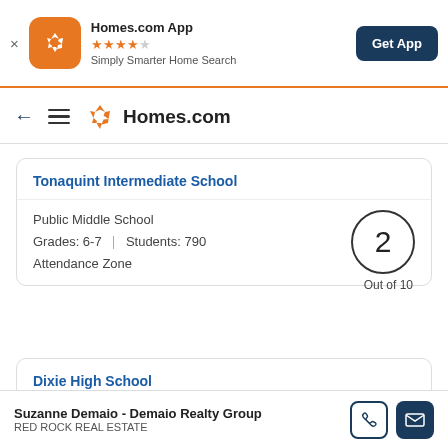[Figure (screenshot): Homes.com app banner with orange icon, star rating, and Get App button]
Homes.com app banner: Homes.com App ★★★★☆ Simply Smarter Home Search | Get App
[Figure (logo): Homes.com navigation bar with back arrow, hamburger menu, and Homes.com logo]
Tonaquint Intermediate School
Public Middle School
Grades: 6-7 | Students: 790
Attendance Zone
2
Out of 10
Dixie High School
Suzanne Demaio - Demaio Realty Group
RED ROCK REAL ESTATE